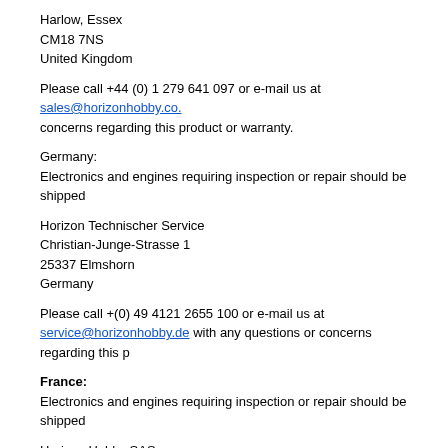Harlow, Essex
CM18 7NS
United Kingdom
Please call +44 (0) 1 279 641 097 or e-mail us at sales@horizonhobby.co. concerns regarding this product or warranty.
Germany:
Electronics and engines requiring inspection or repair should be shipped
Horizon Technischer Service
Christian-Junge-Strasse 1
25337 Elmshorn
Germany
Please call +(0) 49 4121 2655 100 or e-mail us at service@horizonhobby.de with any questions or concerns regarding this p
France:
Electronics and engines requiring inspection or repair should be shipped
Horizon Hobby SAS
11 Rue Georges Charpak
77127 LIEUSAINT
Please call +33 (0) 1 60 18 34 90 or e-mail us at infofrance@horizonhobby.com with any questions or concerns regarding t